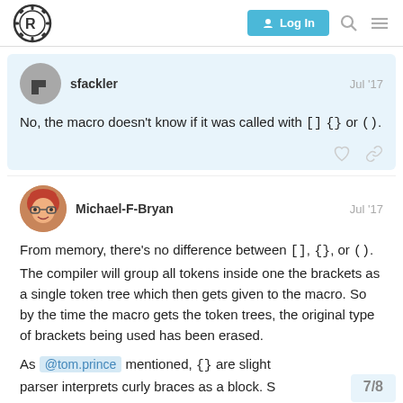Rust forum navigation bar with Log In button
sfackler   Jul '17
No, the macro doesn't know if it was called with [] {} or ().
Michael-F-Bryan   Jul '17
From memory, there's no difference between [], {}, or (). The compiler will group all tokens inside one the brackets as a single token tree which then gets given to the macro. So by the time the macro gets the token trees, the original type of brackets being used has been erased.
As @tom.prince mentioned, {} are slight parser interprets curly braces as a block. S
7/8